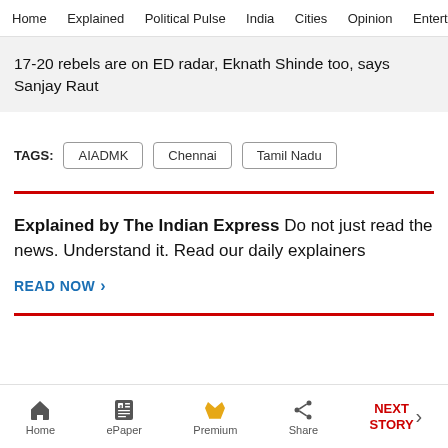Home   Explained   Political Pulse   India   Cities   Opinion   Entertainment
17-20 rebels are on ED radar, Eknath Shinde too, says Sanjay Raut
TAGS:  AIADMK   Chennai   Tamil Nadu
Explained by The Indian Express Do not just read the news. Understand it. Read our daily explainers
READ NOW >
Home   ePaper   Premium   Share   NEXT STORY